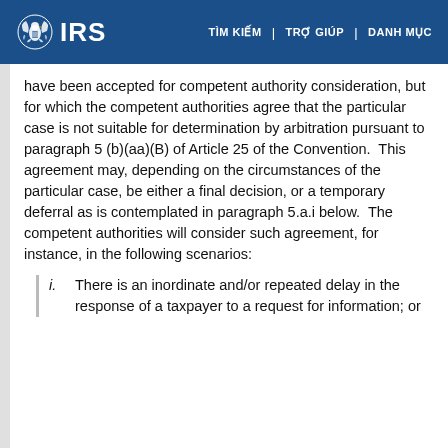IRS | TÌM KIẾM | TRỢ GIÚP | DANH MỤC
have been accepted for competent authority consideration, but for which the competent authorities agree that the particular case is not suitable for determination by arbitration pursuant to paragraph 5 (b)(aa)(B) of Article 25 of the Convention.  This agreement may, depending on the circumstances of the particular case, be either a final decision, or a temporary deferral as is contemplated in paragraph 5.a.i below.  The competent authorities will consider such agreement, for instance, in the following scenarios:
i.     There is an inordinate and/or repeated delay in the response of a taxpayer to a request for information; or